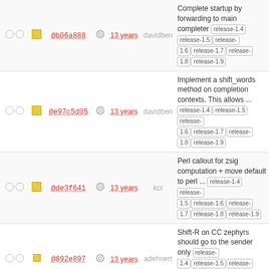|  |  | hash |  | age | author | description |
| --- | --- | --- | --- | --- | --- | --- |
| ○○ | □ | @b06a888 | ⚙ | 13 years | davidben | Complete startup by forwarding to main completer release-1.4 release-1.5 release-1.6 release-1.7 release-1.8 release-1.9 |
| ○○ | □ | @e97c5d05 | ⚙ | 13 years | davidben | Implement a shift_words method on completion contexts. This allows ... release-1.4 release-1.5 release-1.6 release-1.7 release-1.8 release-1.9 |
| ○○ | □ | @de3f641 | ⚙ | 13 years | kcr | Perl callout for zsig computation + move default to perl ... release-1.4 release-1.5 release-1.6 release-1.7 release-1.8 release-1.9 |
| ○○ | □ | @892e897 | ⚙ | 13 years | adehnert | Shift-R on CC zephyrs should go to the sender only release-1.4 release-1.5 release-1.6 release-1.7 release-1.8 release-1.9 |
| ○○ | □ | @7589f0a | ⚙ | 13 years | asedeno | Add a stub for owl::startup Adding a stub so that owl / ... release-1.4 release-1.5 release-1.6 release-1.7 release-1.8 release-1.9 |
| ○○ | □ | @3519d06 | ⚙ | 13 years | andersk | Module::Install::BarnOwl: Tell zip to quiet down. Signed-off-by: ... release-1.4 release-1.5 release-1.6 release-1.7 release-1.8 release-1.9 |
| ○○ | □ | @03e25c5 | ⚙ | 13 years | andersk | _new_command: Only tokenize on spaces when passed a single argument... |